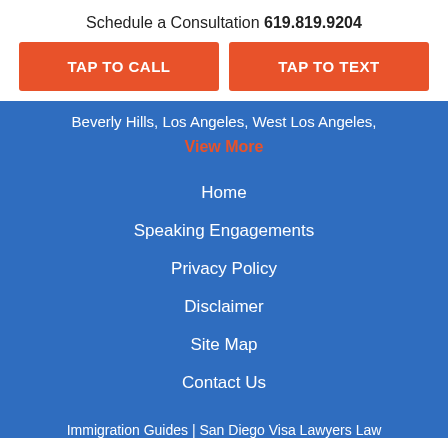Schedule a Consultation 619.819.9204
TAP TO CALL
TAP TO TEXT
Beverly Hills, Los Angeles, West Los Angeles,
View More
Home
Speaking Engagements
Privacy Policy
Disclaimer
Site Map
Contact Us
Immigration Guides | San Diego Visa Lawyers Law